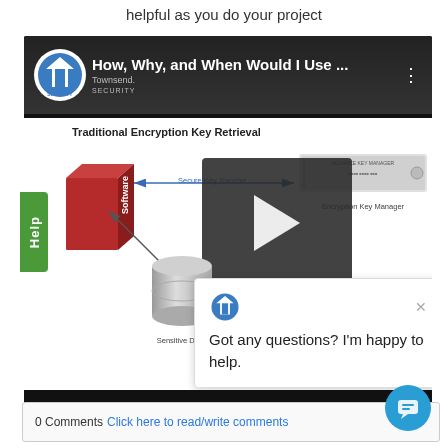helpful as you do your project
[Figure (screenshot): Screenshot of a Townsend Security video titled 'How, Why, and When Would I Use...' showing Traditional Encryption Key Retrieval diagram with a software box, encryption key manager hardware, database, and overlaid chat popup saying 'Got any questions? I'm happy to help.']
0 Comments Click here to read/write comments